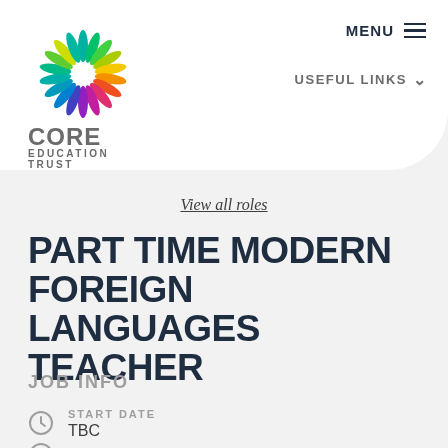[Figure (logo): Core Education Trust colorful pinwheel/starburst logo with multicolored petals radiating from center]
CORE EDUCATION TRUST
MENU   USEFUL LINKS
View all roles
PART TIME MODERN FOREIGN LANGUAGES TEACHER
JOB INFO
START DATE
TBC
LOCATION